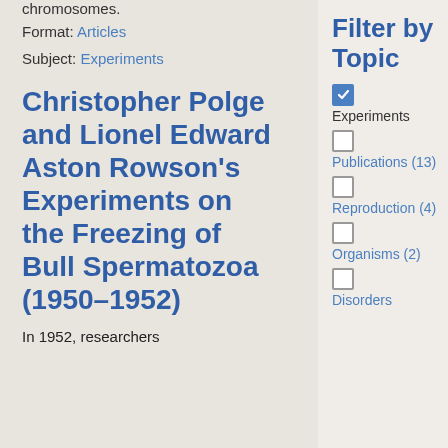chromosomes.
Format: Articles
Subject: Experiments
Christopher Polge and Lionel Edward Aston Rowson's Experiments on the Freezing of Bull Spermatozoa (1950–1952)
In 1952, researchers
Filter by Topic
Experiments (checked)
Publications (13)
Reproduction (4)
Organisms (2)
Disorders